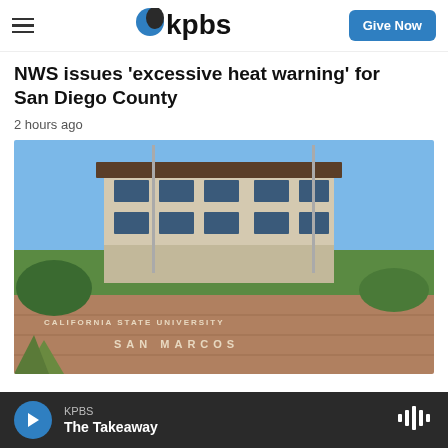KPBS — Give Now
NWS issues 'excessive heat warning' for San Diego County
2 hours ago
[Figure (photo): California State University San Marcos campus building with stone sign reading 'CALIFORNIA STATE UNIVERSITY SAN MARCOS', blue sky background, flagpoles visible]
KPBS — The Takeaway